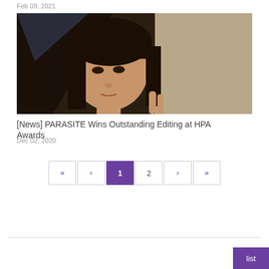Feb 09, 2021
[Figure (photo): A young East Asian woman with dark bangs and shoulder-length hair, peering around or against a wall, dark cinematic background]
[News] PARASITE Wins Outstanding Editing at HPA Awards
Dec 02, 2020
« < 1 2 > »
list